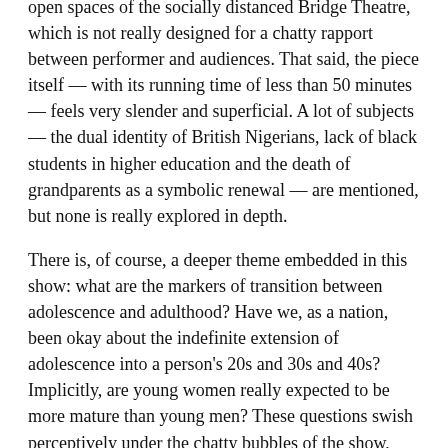open spaces of the socially distanced Bridge Theatre, which is not really designed for a chatty rapport between performer and audiences. That said, the piece itself — with its running time of less than 50 minutes — feels very slender and superficial. A lot of subjects — the dual identity of British Nigerians, lack of black students in higher education and the death of grandparents as a symbolic renewal — are mentioned, but none is really explored in depth.
There is, of course, a deeper theme embedded in this show: what are the markers of transition between adolescence and adulthood? Have we, as a nation, been okay about the indefinite extension of adolescence into a person's 20s and 30s and 40s? Implicitly, are young women really expected to be more mature than young men? These questions swish perceptively under the chatty bubbles of the show, although they remain suggestions and largely unarticulated. This is a shame as I would love to know what Mercy really thinks about these subjects.
Directed by...